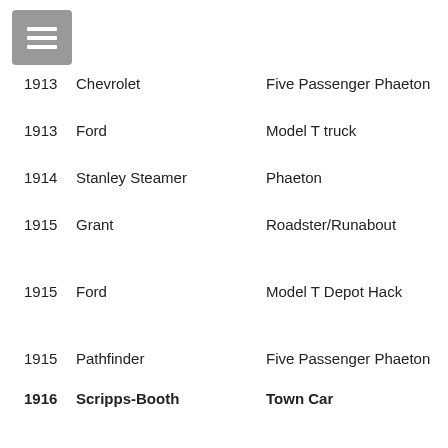1913  Chevrolet  Five Passenger Phaeton
1913  Ford  Model T truck
1914  Stanley Steamer  Phaeton
1915  Grant  Roadster/Runabout
1915  Ford  Model T Depot Hack
1915  Pathfinder  Five Passenger Phaeton
1916  Scripps-Booth  Town Car